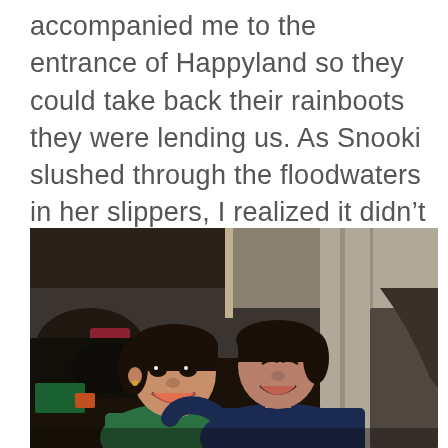accompanied me to the entrance of Happyland so they could take back their rainboots they were lending us. As Snooki slushed through the floodwaters in her slippers, I realized it didn't bother her at all. It was just normal to her. But she couldn't stop smiling.
[Figure (photo): Two young women smiling and leaning together inside a dimly lit wooden structure. One wears a green top, the other a dark blue top. Cluttered items and clothing visible in the background.]